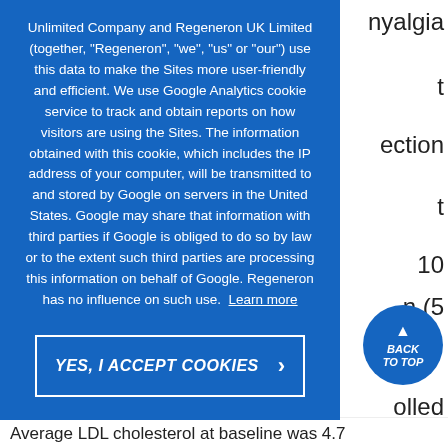nyalgia
t
ection
t
10
n (5
Unlimited Company and Regeneron UK Limited (together, "Regeneron", "we", "us" or "our") use this data to make the Sites more user-friendly and efficient. We use Google Analytics cookie service to track and obtain reports on how visitors are using the Sites. The information obtained with this cookie, which includes the IP address of your computer, will be transmitted to and stored by Google on servers in the United States. Google may share that information with third parties if Google is obliged to do so by law or to the extent such third parties are processing this information on behalf of Google. Regeneron has no influence on such use. Learn more
olled
ier
erm
BACK TO TOP
baseline
every
omization.
YES, I ACCEPT COOKIES
Average LDL cholesterol at baseline was 4.7